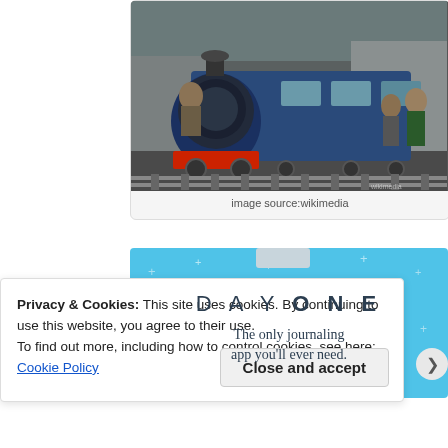[Figure (photo): Blue steam locomotive (toy train) on a narrow gauge track on a street, with passengers and bystanders visible. The train is close-up showing the front of the engine with workers on board.]
image source:wikimedia
[Figure (infographic): DAY ONE app advertisement banner with light blue background and decorative star/cross symbols. Text reads 'DAY ONE' and 'The only journaling app you'll ever need.']
Privacy & Cookies: This site uses cookies. By continuing to use this website, you agree to their use.
To find out more, including how to control cookies, see here: Cookie Policy
Close and accept